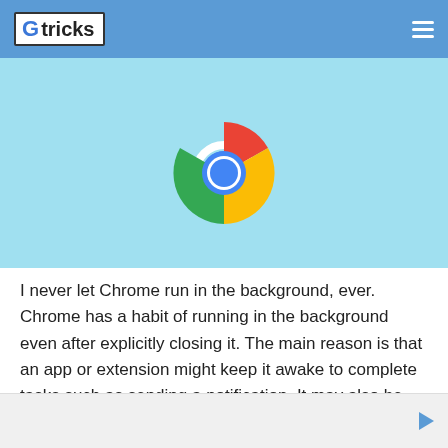G tricks
[Figure (illustration): Google Chrome logo on a light blue background, showing the circular colorful Chrome icon with blue center, green left, red top, and yellow right segments]
I never let Chrome run in the background, ever. Chrome has a habit of running in the background even after explicitly closing it. The main reason is that an app or extension might keep it awake to complete tasks such as sending a notification. It may also be allowed to start up with your PC, so it will keep processes open even if you didn't open Chrome at all.
[Figure (other): Advertisement bar at the bottom of the page with a play/forward triangle icon]